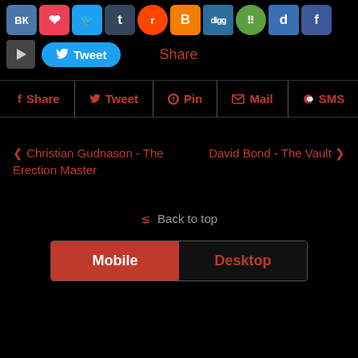[Figure (other): Row of social media sharing icon buttons: VK, Pocket, Twitter, Tumblr, Reddit, Blogger, Digg, Six Dots, Delicious, Facebook]
[Figure (other): Tweet button row with play button, Twitter Tweet button, and Share label]
[Figure (other): Share bar with icons: f Share | Tweet | Pin | Mail | SMS]
‹ Christian Gudnason - The Erection Master
David Bond - The Vault ›
⌃ Back to top
[Figure (other): Mobile / Desktop toggle buttons]